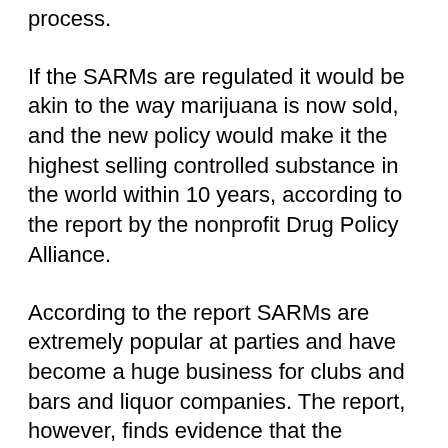process.
If the SARMs are regulated it would be akin to the way marijuana is now sold, and the new policy would make it the highest selling controlled substance in the world within 10 years, according to the report by the nonprofit Drug Policy Alliance.
According to the report SARMs are extremely popular at parties and have become a huge business for clubs and bars and liquor companies. The report, however, finds evidence that the majority of sales happen privately and that the sale is not for public consumption.
As of 2007, the report found that there was $6.6 billion in recreational drug sales, $1.7 billion of which are done using SARMs. SARMs are not used with